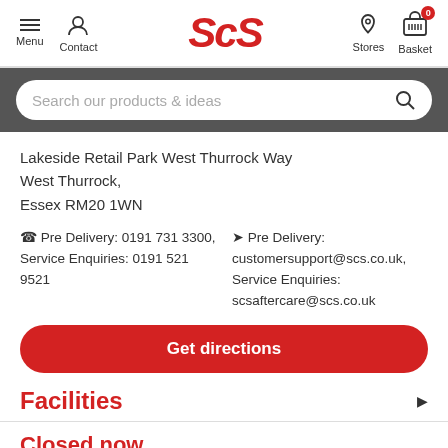Menu | Contact | ScS | Stores | Basket 0
Search our products & ideas
Lakeside Retail Park West Thurrock Way
West Thurrock,
Essex RM20 1WN
Pre Delivery: 0191 731 3300, Service Enquiries: 0191 521 9521
Pre Delivery: customersupport@scs.co.uk, Service Enquiries: scsaftercare@scs.co.uk
Get directions
Facilities
Closed now
Sunday    11am - 5pm